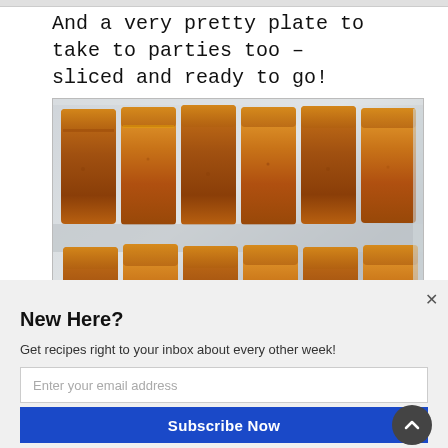And a very pretty plate to take to parties too – sliced and ready to go!
[Figure (photo): Top-down photo of sliced golden-brown baked loaf pieces arranged on foil, showing two rows of rectangular slices with caramelized tops.]
New Here?
Get recipes right to your inbox about every other week!
Enter your email address
Subscribe Now